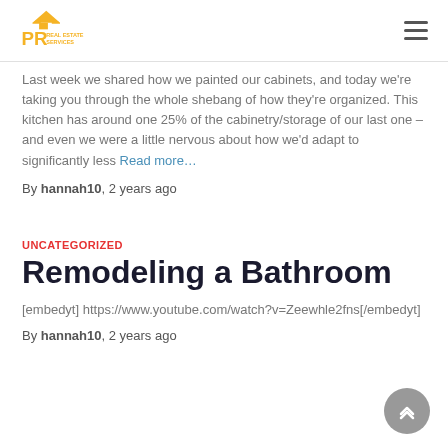PR Real Estate Services
Last week we shared how we painted our cabinets, and today we’re taking you through the whole shebang of how they’re organized. This kitchen has around one 25% of the cabinetry/storage of our last one – and even we were a little nervous about how we’d adapt to significantly less Read more…
By hannah10, 2 years ago
UNCATEGORIZED
Remodeling a Bathroom
[embedyt] https://www.youtube.com/watch?v=Zeewhle2fns[/embedyt]
By hannah10, 2 years ago